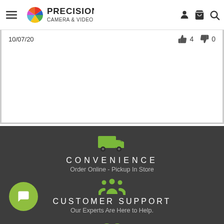Precision Camera & Video — navigation header with hamburger menu, logo, account icon, cart icon, search icon
10/07/20   👍 4   👎 0
[Figure (illustration): Dark footer section with truck icon, CONVENIENCE / Order Online - Pickup In Store text, people group icon, CUSTOMER SUPPORT / Our Experts Are Here to Help., handshake icon at bottom, and a green chat button in lower left]
CONVENIENCE
Order Online - Pickup In Store
CUSTOMER SUPPORT
Our Experts Are Here to Help.